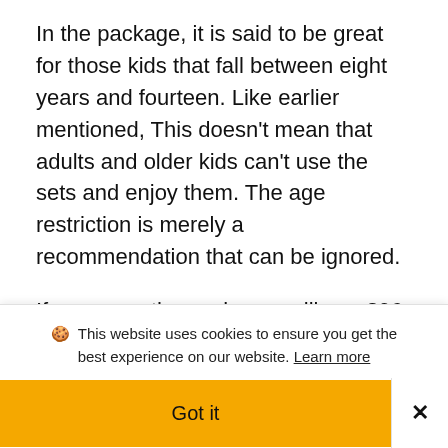In the package, it is said to be great for those kids that fall between eight years and fourteen. Like earlier mentioned, This doesn't mean that adults and older kids can't use the sets and enjoy them. The age restriction is merely a recommendation that can be ignored.
If you open the pack, you will see 396 Lego bricks and unique pieces. Making use of the guidelines when building the set makes the process a lot easier. What you will end up
🍪 This website uses cookies to ensure you get the best experience on our website. Learn more
Got it